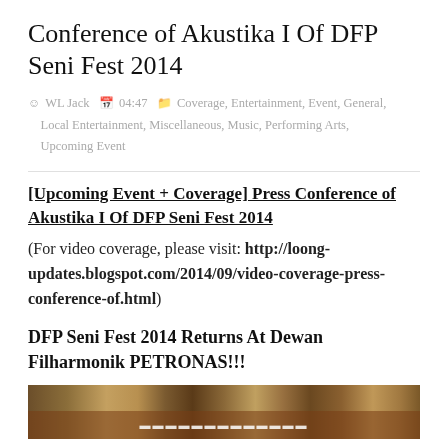Conference of Akustika I Of DFP Seni Fest 2014
WL Jack  04:47  Coverage, Entertainment, Event, General, Local Entertainment, Miscellaneous, Music, Performing Arts, Upcoming Event
[Upcoming Event + Coverage] Press Conference of Akustika I Of DFP Seni Fest 2014
(For video coverage, please visit: http://loong-updates.blogspot.com/2014/09/video-coverage-press-conference-of.html)
DFP Seni Fest 2014 Returns At Dewan Filharmonik PETRONAS!!!
[Figure (photo): Photo strip showing an event scene, likely from DFP Seni Fest 2014]